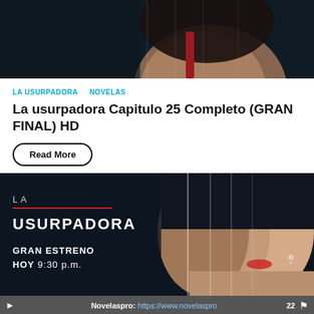[Figure (photo): Dark atmospheric promotional image showing a woman's back/shoulder with red dress strap, dark teal background with vertical light streaks]
LA USURPADORA  NOVELAS
La usurpadora Capitulo 25 Completo (GRAN FINAL) HD
Read More
[Figure (photo): Promotional banner for La Usurpadora TV show on dark background. Shows a composite face of two women split vertically. Text overlay reads: LA / USURPADORA / GRAN ESTRENO / HOY 9:30 p.m.]
Novelaspro: https://www.novelaspro  22